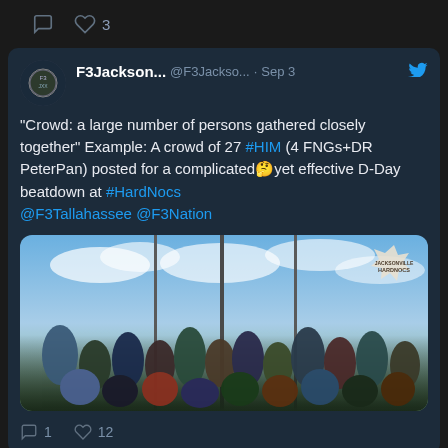[Figure (screenshot): Top bar of a Twitter/X app screenshot showing comment and heart icons with count 3]
F3Jackson... @F3Jackso... · Sep 3
"Crowd: a large number of persons gathered closely together" Example: A crowd of 27 #HIM (4 FNGs+DR PeterPan) posted for a complicated🤔yet effective D-Day beatdown at #HardNocs @F3Tallahassee @F3Nation
[Figure (photo): Group photo of approximately 27 men gathered outdoors near flag poles under a partly cloudy blue sky. A starburst badge in the upper right reads 'JACKSONVILLE HARDNOCS']
1 comment, 12 likes
F3Jackson... @F3Jackso... · Sep 3